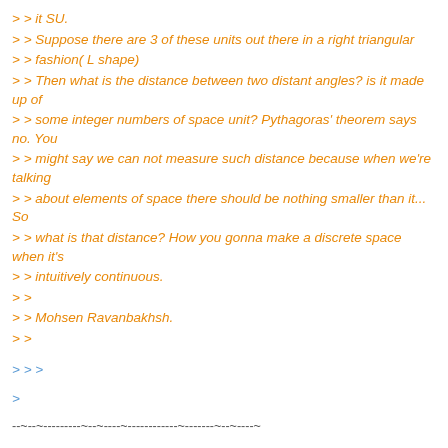> > it SU.
> > Suppose there are 3 of these units out there in a right triangular
> > fashion( L shape)
> > Then what is the distance between two distant angles? is it made up of
> > some integer numbers of space unit? Pythagoras' theorem says no. You
> > might say we can not measure such distance because when we're talking
> > about elements of space there should be nothing smaller than it... So
> > what is that distance? How you gonna make a discrete space when it's
> > intuitively continuous.
> >
> > Mohsen Ravanbakhsh.
> >
> > >
>
--~--~---------~--~----~------------~-------~--~----~
You received this message because you are subscribed to the Google Groups "Everything List" group.
To post to this group, send email to everything-